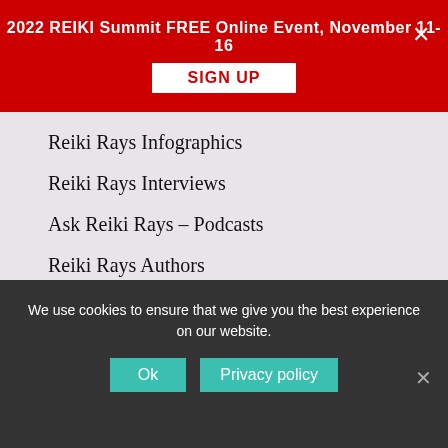2022 REIKI Summit FREE Online Event, November 11-16
Reiki Rays Infographics
Reiki Rays Interviews
Ask Reiki Rays – Podcasts
Reiki Rays Authors
Reiki Practitioners and Teachers
Contact Us
contact@reikirays.com
Disclaimer
We use cookies to ensure that we give you the best experience on our website.